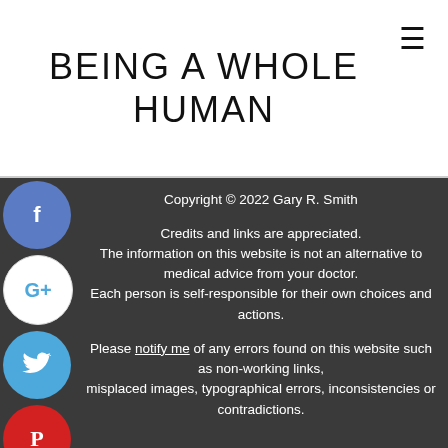BEING A WHOLE HUMAN
[Figure (screenshot): Hamburger menu icon (three horizontal lines) in top right of header]
[Figure (screenshot): Social sharing icon buttons column on left side: Facebook (blue), Google+ (red/white), Twitter (blue), Pinterest (red), Blogger (orange), YouTube (red), More (gray)]
Copyright © 2022 Gary R. Smith
Credits and links are appreciated. The information on this website is not an alternative to medical advice from your doctor. Each person is self-responsible for their own choices and actions.
Please notify me of any errors found on this website such as non-working links, misplaced images, typographical errors, inconsistencies or contradictions.